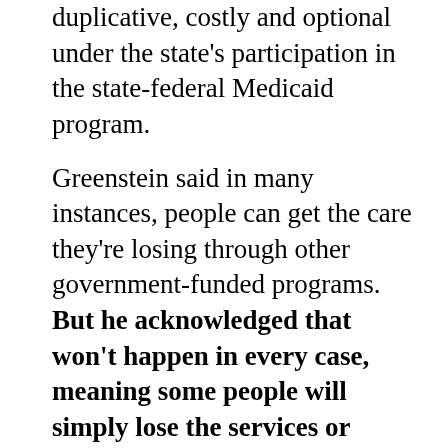duplicative, costly and optional under the state's participation in the state-federal Medicaid program.
Greenstein said in many instances, people can get the care they're losing through other government-funded programs. But he acknowledged that won't happen in every case, meaning some people will simply lose the services or receive reduced services. [...]
Jan Moller heads the Louisiana Budget Project, which advocates for low- to moderate-income families. Moller said he's most